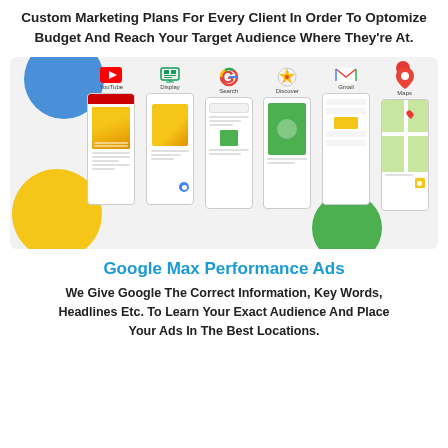Custom Marketing Plans For Every Client In Order To Optomize Budget And Reach Your Target Audience Where They're At.
[Figure (illustration): Google advertising platform illustration showing six channels: YouTube, Display, Search, Discover, Gmail, and Maps, each represented as a smartphone mockup with the channel icon above it, set against a light grey background with colorful decorative circles.]
Google Max Performance Ads
We Give Google The Correct Information, Key Words, Headlines Etc. To Learn Your Exact Audience And Place Your Ads In The Best Locations.